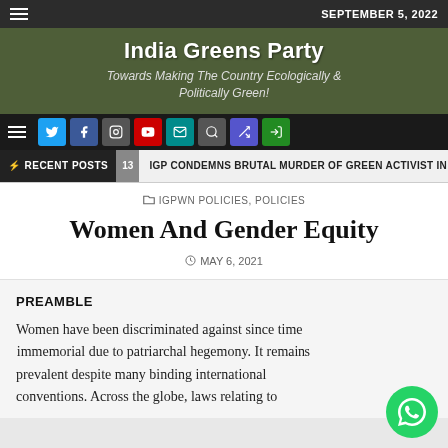SEPTEMBER 5, 2022
India Greens Party
Towards Making The Country Ecologically & Politically Green!
RECENT POSTS 13 IGP CONDEMNS BRUTAL MURDER OF GREEN ACTIVIST IN U
IGPWN POLICIES, POLICIES
Women And Gender Equity
MAY 6, 2021
PREAMBLE
Women have been discriminated against since time immemorial due to patriarchal hegemony. It remains prevalent despite many binding international conventions. Across the globe, laws relating to